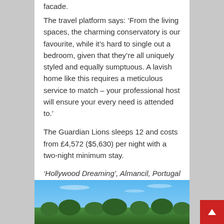facade.
The travel platform says: ‘From the living spaces, the charming conservatory is our favourite, while it’s hard to single out a bedroom, given that they’re all uniquely styled and equally sumptuous. A lavish home like this requires a meticulous service to match – your professional host will ensure your every need is attended to.’
The Guardian Lions sleeps 12 and costs from £4,572 ($5,630) per night with a two-night minimum stay.
‘Hollywood Dreaming’, Almancil, Portugal
[Figure (photo): Exterior photo showing trees against a blue sky, location in Almancil, Portugal]